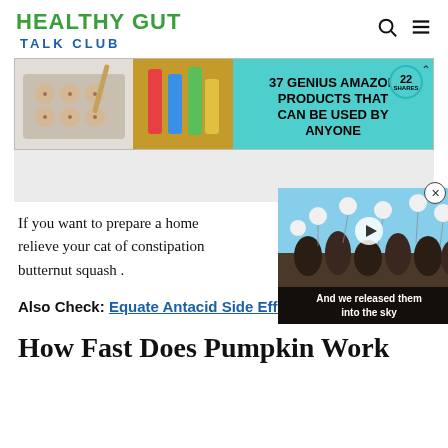HEALTHY GUT TALK CLUB
[Figure (screenshot): Advertisement banner: 37 Genius Amazon Products That Can Be Used By Anyone, with images of cookies on a baking tray and lip balm products on a teal background with a badge showing 22.]
If you want to prepare a home remedy to relieve your cat of constipation ... butternut squash.
Also Check: Equate Antacid Side Effects
[Figure (screenshot): Video overlay showing people releasing balloons into the sky with caption 'And we released them into the sky' and a play button.]
How Fast Does Pumpkin Work